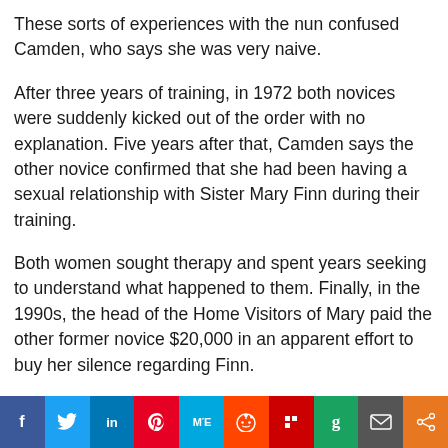These sorts of experiences with the nun confused Camden, who says she was very naive.
After three years of training, in 1972 both novices were suddenly kicked out of the order with no explanation. Five years after that, Camden says the other novice confirmed that she had been having a sexual relationship with Sister Mary Finn during their training.
Both women sought therapy and spent years seeking to understand what happened to them. Finally, in the 1990s, the head of the Home Visitors of Mary paid the other former novice $20,000 in an apparent effort to buy her silence regarding Finn.
[Figure (other): Social media sharing bar with icons for Facebook, Twitter, LinkedIn, Pinterest, MeWe, Reddit, Flipboard, Goodreads, Email, and Share]